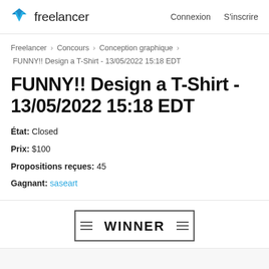Freelancer | Connexion S'inscrire
Freelancer › Concours › Conception graphique › FUNNY!! Design a T-Shirt - 13/05/2022 15:18 EDT
FUNNY!! Design a T-Shirt - 13/05/2022 15:18 EDT
État: Closed
Prix: $100
Propositions reçues: 45
Gagnant: saseart
[Figure (other): WINNER badge/ribbon graphic with horizontal decorative lines on each side of the word WINNER]